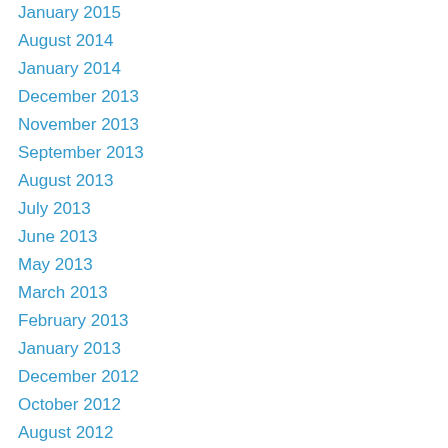January 2015
August 2014
January 2014
December 2013
November 2013
September 2013
August 2013
July 2013
June 2013
May 2013
March 2013
February 2013
January 2013
December 2012
October 2012
August 2012
July 2012
June 2012
May 2012
April 2012